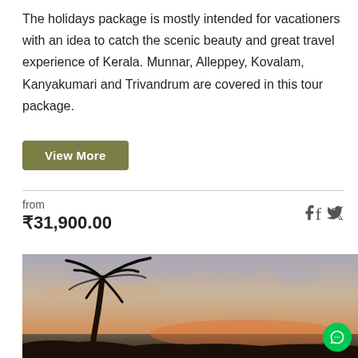The holidays package is mostly intended for vacationers with an idea to catch the scenic beauty and great travel experience of Kerala. Munnar, Alleppey, Kovalam, Kanyakumari and Trivandrum are covered in this tour package.
View More
from
₹31,900.00
[Figure (photo): Tropical beach sunset scene with a palm tree silhouette in the foreground against a warm orange and grey sky with clouds.]